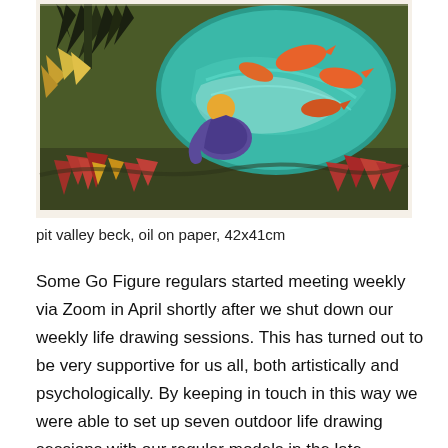[Figure (illustration): A colorful painting showing a crouching figure in purple with a yellow head, beside a circular teal pond filled with orange fish. Dark olive green background with red and yellow plants, and dark leaf silhouettes in the upper left.]
pit valley beck, oil on paper, 42x41cm
Some Go Figure regulars started meeting weekly via Zoom in April shortly after we shut down our weekly life drawing sessions. This has turned out to be very supportive for us all, both artistically and psychologically. By keeping in touch in this way we were able to set up seven outdoor life drawing sessions with our regular models in the late summer. None of us were under any